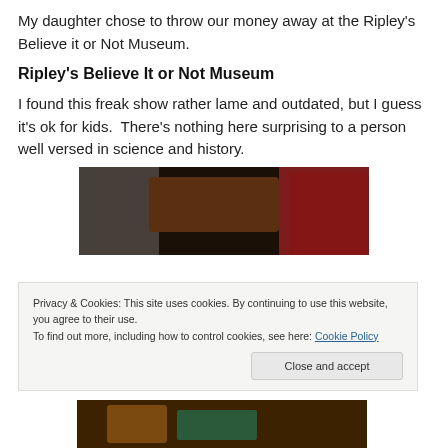My daughter chose to throw our money away at the Ripley's Believe it or Not Museum.
Ripley's Believe It or Not Museum
I found this freak show rather lame and outdated, but I guess it's ok for kids.  There's nothing here surprising to a person well versed in science and history.
[Figure (photo): Dark interior photo of Ripley's Believe It or Not Museum exhibit]
Privacy & Cookies: This site uses cookies. By continuing to use this website, you agree to their use.
To find out more, including how to control cookies, see here: Cookie Policy
[Figure (photo): Bottom portion of museum interior photo]